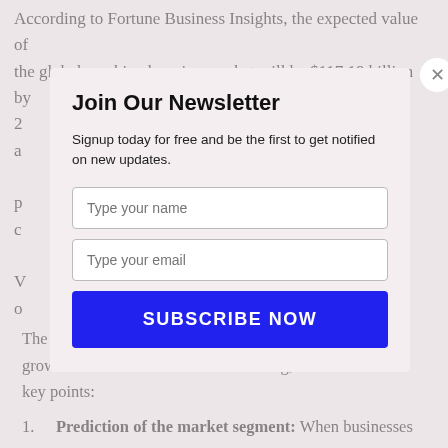According to Fortune Business Insights, the expected value of the global machine learning market will be $117.19 billion by 2...
[Figure (screenshot): Newsletter signup modal overlay with title 'Join Our Newsletter', description text, name input, email input, and SUBSCRIBE NOW button with a close X button]
The article focuses on how you can expedite your business growth with the use of machine learning, and here are the key points:
1. Prediction of the market segment: When businesses ...